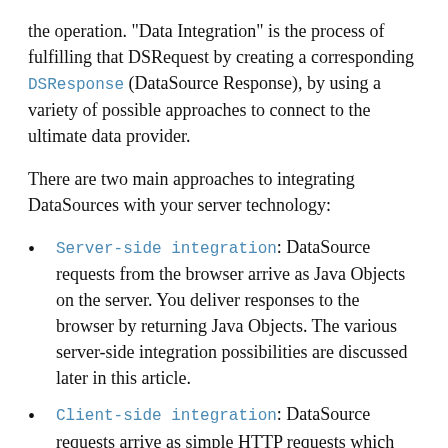the operation. "Data Integration" is the process of fulfilling that DSRequest by creating a corresponding DSResponse (DataSource Response), by using a variety of possible approaches to connect to the ultimate data provider.
There are two main approaches to integrating DataSources with your server technology:
Server-side integration: DataSource requests from the browser arrive as Java Objects on the server. You deliver responses to the browser by returning Java Objects. The various server-side integration possibilities are discussed later in this article.
Client-side integration: DataSource requests arrive as simple HTTP requests which your server code receives directly (in Java, you use the Servlet API or .jsps to